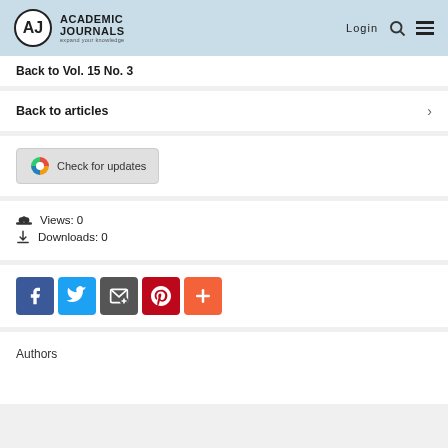AJ Academic Journals — expand your knowledge | Login
Back to Vol. 15 No. 3
Back to articles
[Figure (other): Check for updates button with crossref logo]
Views: 0
Downloads: 0
[Figure (other): Social sharing buttons: Facebook, Twitter, Email, Pinterest, More]
Authors